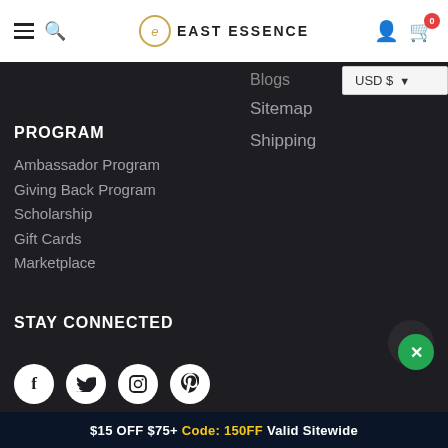East Essence — hamburger menu, search, logo, user icon, cart (0)
Blogs
Sitemap
Shipping
USD $
PROGRAM
Ambassador Program
Giving Back Program
Scholarship
Gift Cards
Marketplace
STAY CONNECTED
[Figure (infographic): Social media icons: Facebook, Twitter, Instagram, Pinterest — white circles on dark background]
$15 OFF $75+ Code: 150FF Valid Sitewide